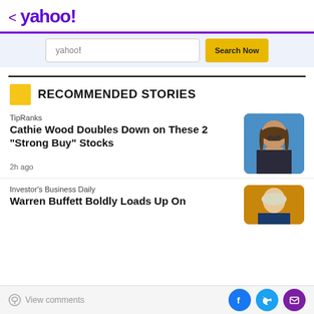< yahoo!
[Figure (screenshot): Yahoo search bar with 'yahoo!' placeholder text and 'Search Now' yellow button]
RECOMMENDED STORIES
TipRanks
Cathie Wood Doubles Down on These 2 "Strong Buy" Stocks
2h ago
[Figure (photo): Photo of Cathie Wood, woman with long brown hair and glasses]
Investor's Business Daily
Warren Buffett Boldly Loads Up On
[Figure (photo): Partial photo of Warren Buffett, elderly man with white hair]
View comments | Facebook | Twitter | Mail